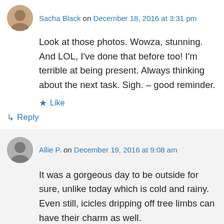Sacha Black on December 18, 2016 at 3:31 pm
Look at those photos. Wowza, stunning. And LOL, I've done that before too! I'm terrible at being present. Always thinking about the next task. Sigh. – good reminder.
★ Like
↳ Reply
Allie P. on December 19, 2016 at 9:08 am
It was a gorgeous day to be outside for sure, unlike today which is cold and rainy. Even still, icicles dripping off tree limbs can have their charm as well.